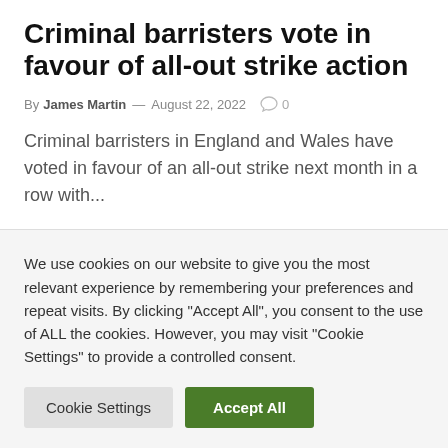Criminal barristers vote in favour of all-out strike action
By James Martin — August 22, 2022 ○ 0
Criminal barristers in England and Wales have voted in favour of an all-out strike next month in a row with...
We use cookies on our website to give you the most relevant experience by remembering your preferences and repeat visits. By clicking "Accept All", you consent to the use of ALL the cookies. However, you may visit "Cookie Settings" to provide a controlled consent.